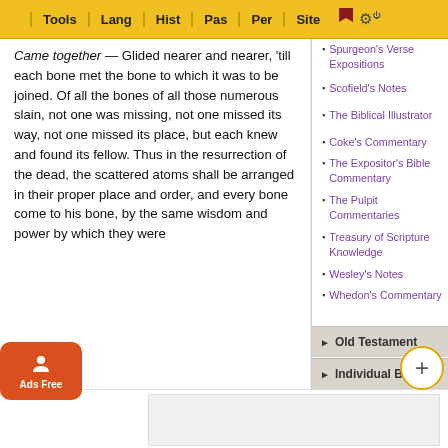Tools | Lang | Hist | Pas | Per | Site
Came together — Glided nearer and nearer, 'till each bone met the bone to which it was to be joined. Of all the bones of all those numerous slain, not one was missing, not one missed its way, not one missed its place, but each knew and found its fellow. Thus in the resurrection of the dead, the scattered atoms shall be arranged in their proper place and order, and every bone come to his bone, by the same wisdom and power by which they were formed in the womb of her that is with child.
Spurgeon's Verse Expositions
Scofield's Notes
The Biblical Illustrator
Coke's Commentary
The Expositor's Bible Commentary
The Pulpit Commentaries
Treasury of Scripture Knowledge
Wesley's Notes
Whedon's Commentary
Old Testament
Individual Book